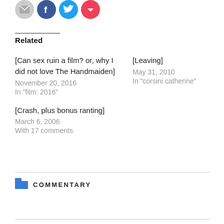[Figure (illustration): Social sharing icons: email (grey circle), facebook (blue circle), twitter (blue circle), pocket (red circle)]
Related
[Can sex ruin a film? or, why I did not love The Handmaiden]
November 20, 2016
In "film: 2016"
[Leaving]
May 31, 2010
In "corsini catherine"
[Crash, plus bonus ranting]
March 6, 2006
With 17 comments
COMMENTARY